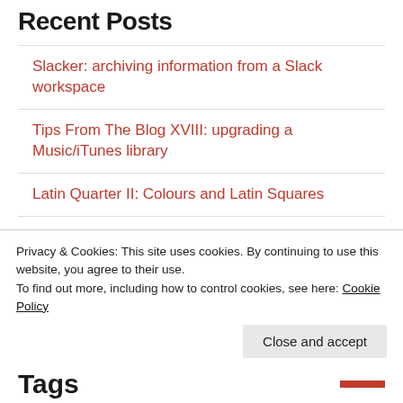Recent Posts
Slacker: archiving information from a Slack workspace
Tips From The Blog XVIII: upgrading a Music/iTunes library
Latin Quarter II: Colours and Latin Squares
In Circles: fitting a circle to a curve
I've Gotta Get A Message To You II: fixing
Privacy & Cookies: This site uses cookies. By continuing to use this website, you agree to their use.
To find out more, including how to control cookies, see here: Cookie Policy
Tags